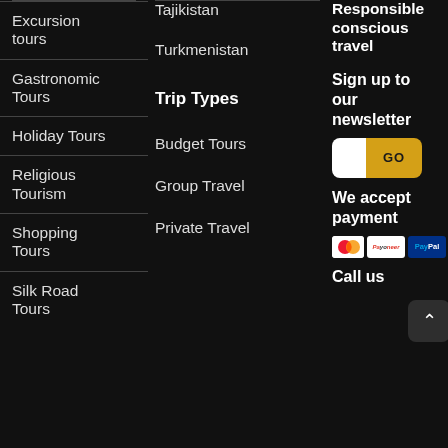Excursion tours
Gastronomic Tours
Holiday Tours
Religious Tourism
Shopping Tours
Silk Road Tours
Tajikistan
Turkmenistan
Trip Types
Budget Tours
Group Travel
Private Travel
Responsible conscious travel
Sign up to our newsletter
We accept payment
Call us